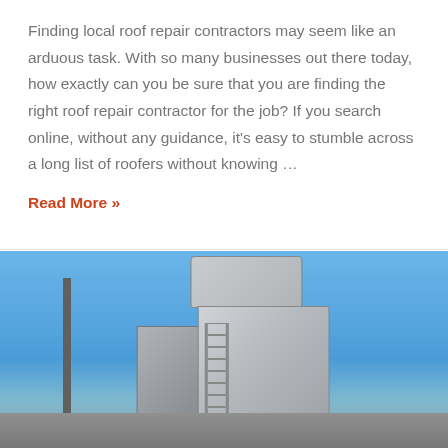Finding local roof repair contractors may seem like an arduous task. With so many businesses out there today, how exactly can you be sure that you are finding the right roof repair contractor for the job? If you search online, without any guidance, it's easy to stumble across a long list of roofers without knowing …
Read More »
[Figure (photo): Photo of commercial HVAC rooftop units against a blue sky background. Large industrial cooling towers and mechanical equipment visible on a rooftop.]